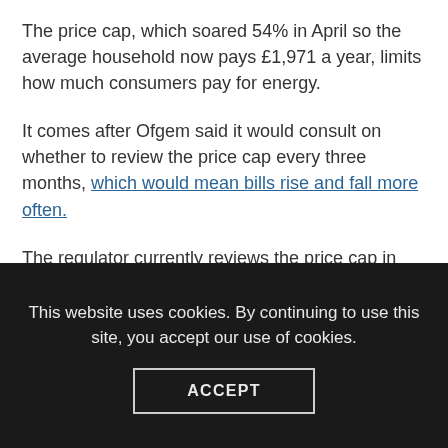The price cap, which soared 54% in April so the average household now pays £1,971 a year, limits how much consumers pay for energy.
It comes after Ofgem said it would consult on whether to review the price cap every three months, which would mean bills rise and fall more often.
The regulator currently reviews the price cap in April and October, as part of efforts to curb rip-off energy tariffs.
This website uses cookies. By continuing to use this site, you accept our use of cookies.
ACCEPT